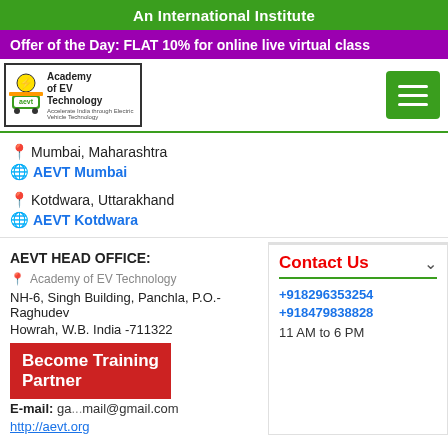An International Institute
Offer of the Day: FLAT 10% for online live virtual class
[Figure (logo): Academy of EV Technology logo with AEVT badge and electric vehicle icon]
Mumbai, Maharashtra
AEVT Mumbai
Kotdwara, Uttarakhand
AEVT Kotdwara
AEVT HEAD OFFICE:
Academy of EV Technology
NH-6, Singh Building, Panchla, P.O.- Raghudev
Howrah, W.B. India -711322
E-mail: ga...mail@gmail.com
http://aevt.org
Contact Us
+918296353254
+918479838828
11 AM to 6 PM
Become Training Partner